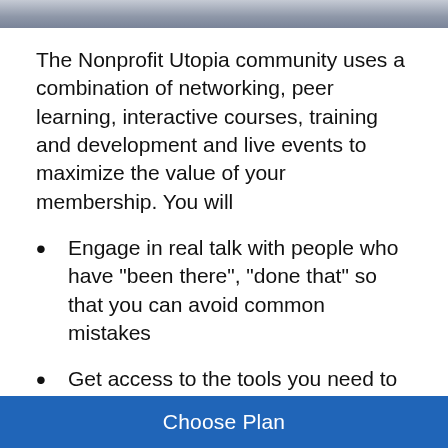[Figure (photo): Partial photo strip at top of page showing people, cropped to a thin horizontal band]
The Nonprofit Utopia community uses a combination of networking, peer learning, interactive courses, training and development and live events to maximize the value of your membership. You will
Engage in real talk with people who have "been there", "done that" so that you can avoid common mistakes
Get access to the tools you need to
Choose Plan